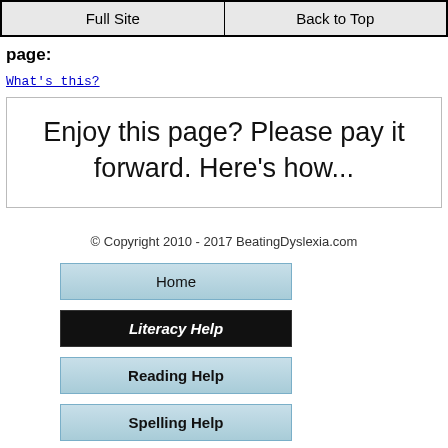Full Site | Back to Top
page:
What's this?
Enjoy this page? Please pay it forward. Here's how...
© Copyright 2010 - 2017 BeatingDyslexia.com
Home
Literacy Help
Reading Help
Spelling Help
Spelling Lists